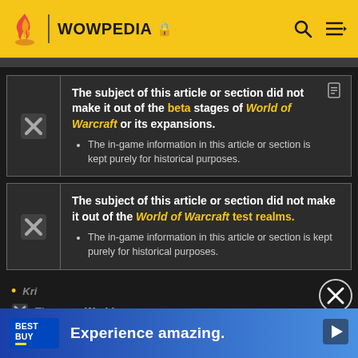WOWPEDIA
The subject of this article or section did not make it out of the beta stages of World of Warcraft or its expansions. The in-game information in this article or section is kept purely for historical purposes.
The subject of this article or section did not make it out of the World of Warcraft test realms. The in-game information in this article or section is kept purely for historical purposes.
[Figure (screenshot): Best Buy advertisement banner with text 'Experience amazing.']